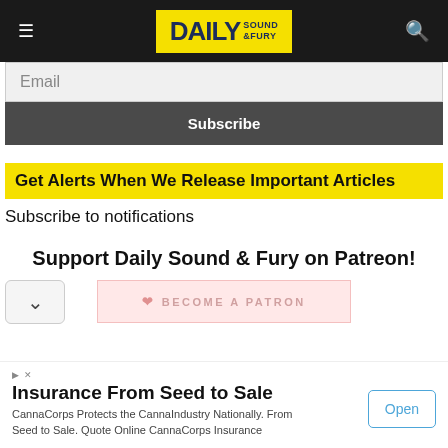DAILY SOUND & FURY
Email
Subscribe
Get Alerts When We Release Important Articles
Subscribe to notifications
Support Daily Sound & Fury on Patreon!
BECOME A PATRON
Insurance From Seed to Sale
CannaCorps Protects the CannaIndustry Nationally. From Seed to Sale. Quote Online CannaCorps Insurance